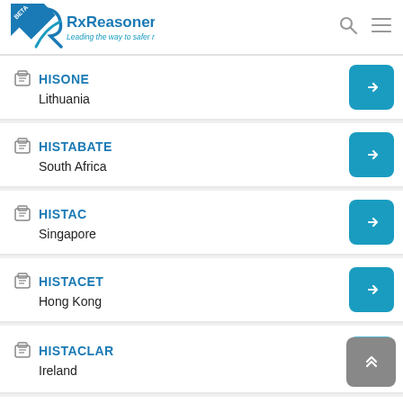RxReasoner — Leading the way to safer medication
HISONE
Lithuania
HISTABATE
South Africa
HISTAC
Singapore
HISTACET
Hong Kong
HISTACLAR
Ireland